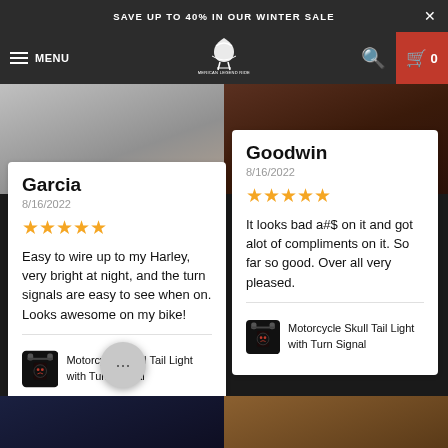SAVE UP TO 40% IN OUR WINTER SALE
[Figure (screenshot): Navigation bar with hamburger menu, MENU text, American Legend Rider logo, search icon, and cart with 0 items]
[Figure (photo): Left product image - grey background]
[Figure (photo): Right product image - dark brown background]
Garcia
8/16/2022
★★★★★
Easy to wire up to my Harley, very bright at night, and the turn signals are easy to see when on. Looks awesome on my bike!
Motorcycle Skull Tail Light with Turn Signal
Goodwin
8/16/2022
★★★★★
It looks bad a#$ on it and got alot of compliments on it. So far so good. Over all very pleased.
Motorcycle Skull Tail Light with Turn Signal
[Figure (photo): Bottom left - dark blue/purple toned product photo]
[Figure (photo): Bottom right - bronze/golden skull ring on hand]